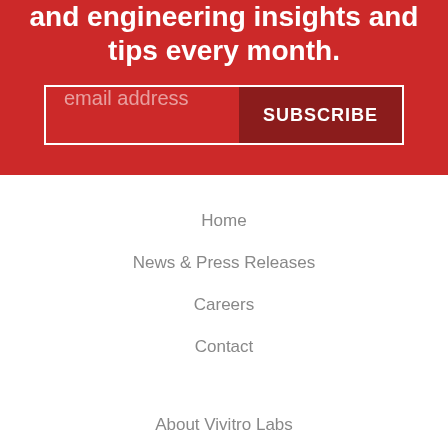and engineering insights and tips every month.
email address
SUBSCRIBE
Home
News & Press Releases
Careers
Contact
About Vivitro Labs
Management Team